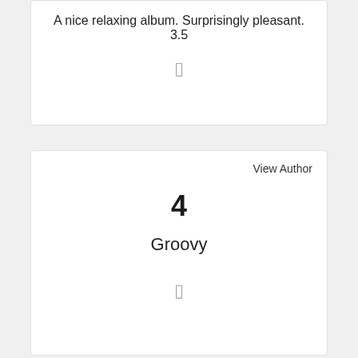A nice relaxing album. Surprisingly pleasant. 3.5
[Figure (other): Small icon/image placeholder in top card]
View Author
4
Groovy
[Figure (other): Small icon/image placeholder in bottom card]